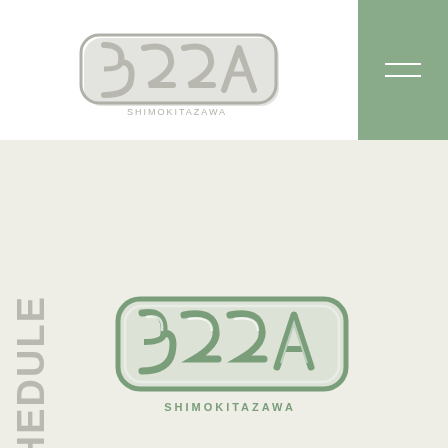[Figure (logo): 322A SHIMOKITAZAWA logo in header, white background, stylized chrome/silver 3D lettering]
[Figure (logo): Hamburger menu button, sage green square top-right with two white horizontal lines]
SCHEDULE
[Figure (logo): 322A SHIMOKITAZAWA logo centered in main area, large green version with white inner lines]
NOW LOADING...